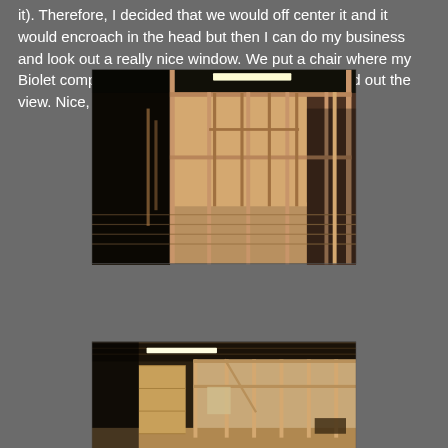it). Therefore, I decided that we would off center it and it would encroach in the head but then I can do my business and look out a really nice window. We put a chair where my Biolet composting toilet is going to live and checked out the view. Nice, really nice.
[Figure (photo): Interior construction photo showing wooden stud framing of walls in a large open space, with a bright fluorescent light visible through the framing at the top center. The framing shows multiple vertical and horizontal members forming room partitions.]
[Figure (photo): Second interior construction photo showing wooden stud wall framing from a slightly different angle, with a panel of plywood visible on the left side and more framing extending to the right.]